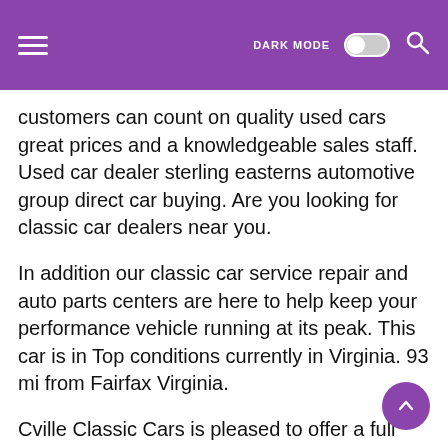DARK MODE [toggle] [search]
customers can count on quality used cars great prices and a knowledgeable sales staff. Used car dealer sterling easterns automotive group direct car buying. Are you looking for classic car dealers near you.
In addition our classic car service repair and auto parts centers are here to help keep your performance vehicle running at its peak. This car is in Top conditions currently in Virginia. 93 mi from Fairfax Virginia.
Cville Classic Cars is pleased to offer a full array of restorations services. Motor vehicle dealer board 2201 west broad st. 2013 Honda Odyssey.
We provide classic car owners in MD VA with a variety of services ranging from oil changes to brake upgrades and body work. Shop millions of cars from over 21000